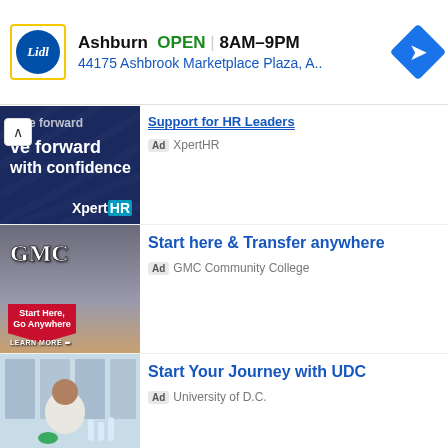[Figure (screenshot): Lidl store ad banner showing Ashburn store location, OPEN status, hours 8AM-9PM, address 44175 Ashbrook Marketplace Plaza A.., navigation arrow icon]
[Figure (screenshot): XpertHR advertisement banner - dark navy background with text 've forward with confidence' and Xpert HR branding. Ad label with XpertHR source. Title: Support for HR Leaders]
[Figure (screenshot): GMC Community College advertisement with image of student studying, GMC logo, red pentagon badge 'Start Here, Go Anywhere LEARN MORE'. Ad text: Start here & Transfer anywhere. Source: GMC Community College]
[Figure (screenshot): University of D.C. advertisement with image of man in lab coat in laboratory setting. Ad text: Start Your Journey with UDC. Source: University of D.C.]